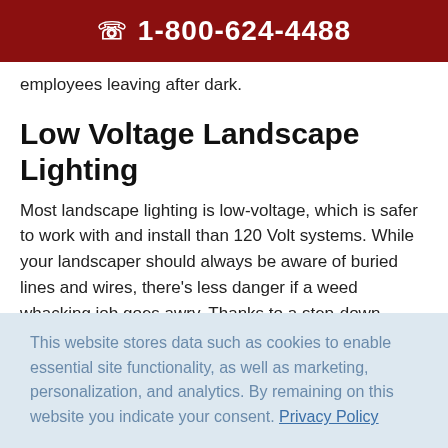☎ 1-800-624-4488
employees leaving after dark.
Low Voltage Landscape Lighting
Most landscape lighting is low-voltage, which is safer to work with and install than 120 Volt systems. While your landscaper should always be aware of buried lines and wires, there's less danger if a weed whacking job goes awry. Thanks to a step-down transformer, the power going to the low-voltage landscape lighting is significantly decreased, but that doesn't stop these lights from making a powerful impact on your building's exterior. Low voltage lighting includes:
This website stores data such as cookies to enable essential site functionality, as well as marketing, personalization, and analytics. By remaining on this website you indicate your consent. Privacy Policy